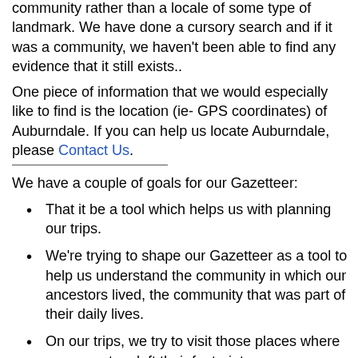community rather than a locale of some type of landmark. We have done a cursory search and if it was a community, we haven't been able to find any evidence that it still exists..
One piece of information that we would especially like to find is the location (ie- GPS coordinates) of Auburndale. If you can help us locate Auburndale, please Contact Us.
We have a couple of goals for our Gazetteer:
That it be a tool which helps us with planning our trips.
We're trying to shape our Gazetteer as a tool to help us understand the community in which our ancestors lived, the community that was part of their daily lives.
On our trips, we try to visit those places where our ancestors left their footprints.